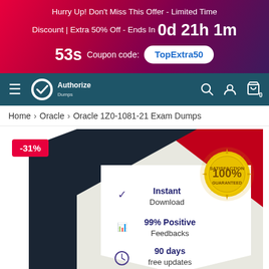Hurry Up! Don't Miss This Offer - Limited Time Discount | Extra 50% Off - Ends In 0d 21h 1m 53s Coupon code: TopExtra50
[Figure (logo): AuthorizeDumps navigation bar with hamburger menu, logo, search, user, and cart icons]
Home > Oracle > Oracle 1Z0-1081-21 Exam Dumps
[Figure (illustration): Product box for Oracle 1Z0-1081-21 Exam Dumps showing -31% discount badge, with features: Instant Download, 99% Positive Feedbacks, 90 days free updates, Payment (partial). Gold 100% satisfaction guarantee seal.]